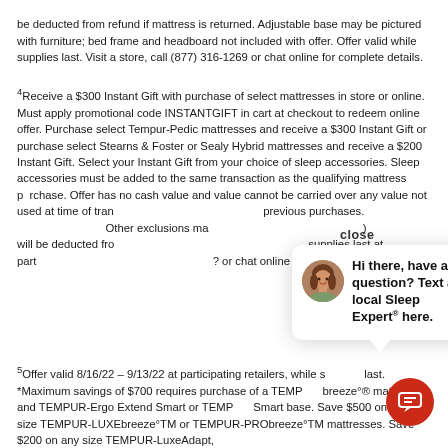be deducted from refund if mattress is returned. Adjustable base may be pictured with furniture; bed frame and headboard not included with offer. Offer valid while supplies last. Visit a store, call (877) 316-1269 or chat online for complete details.
⁴Receive a $300 Instant Gift with purchase of select mattresses in store or online. Must apply promotional code INSTANTGIFT in cart at checkout to redeem online offer. Purchase select Tempur-Pedic mattresses and receive a $300 Instant Gift or purchase select Stearns & Foster or Sealy Hybrid mattresses and receive a $200 Instant Gift. Select your Instant Gift from your choice of sleep accessories. Sleep accessories must be added to the same transaction as the qualifying mattress p... Offer has no cash value and value cannot be carried over any value not used at time of tran... previous purchases... Other exclusions ma... will be deducted fr... supplies last at part... or chat online for co...
[Figure (other): Chat popup with avatar of a woman and text: 'Hi there, have a question? Text a local Sleep Expert® here.' with a close button.]
⁵Offer valid 8/16/22 – 9/13/22 at participating retailers, while supplies last. *Maximum savings of $700 requires purchase of a TEMPUR-breeze°® mattress and TEMPUR-Ergo Extend Smart or TEMPUR-Smart base. Save $500 on any size TEMPUR-LUXEbreeze°TM or TEMPUR-PRObreeze°TM mattresses. Save $200 on any size TEMPUR-LuxeAdapt,